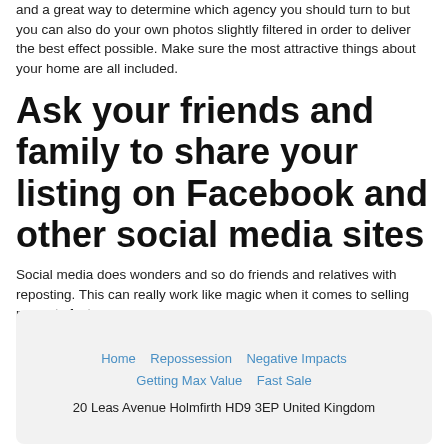and a great way to determine which agency you should turn to but you can also do your own photos slightly filtered in order to deliver the best effect possible. Make sure the most attractive things about your home are all included.
Ask your friends and family to share your listing on Facebook and other social media sites
Social media does wonders and so do friends and relatives with reposting. This can really work like magic when it comes to selling property fast.
Home   Repossession   Negative Impacts   Getting Max Value   Fast Sale
20 Leas Avenue Holmfirth HD9 3EP United Kingdom